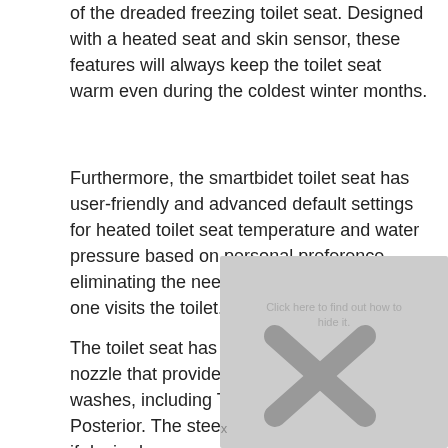of the dreaded freezing toilet seat. Designed with a heated seat and skin sensor, these features will always keep the toilet seat warm even during the coldest winter months.
Furthermore, the smartbidet toilet seat has user-friendly and advanced default settings for heated toilet seat temperature and water pressure based on personal preference, eliminating the need to modify every time one visits the toilet.
The toilet seat has a 3-in-1 stainless steel nozzle that provides numerous forceful washes, including Turbo, Feminine, and Posterior. The steel nozzle can be removed if desired.
[Figure (other): Partially visible advertisement overlay with gray background and an X close button at the bottom, obscuring the lower right portion of the page.]